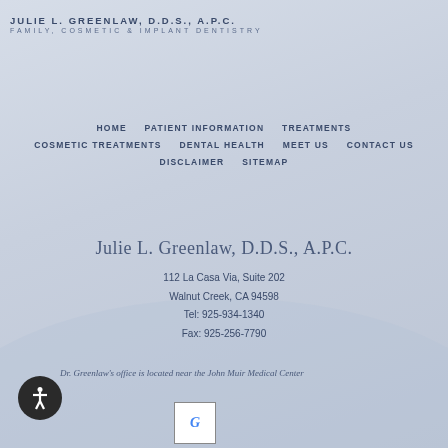JULIE L. GREENLAW, D.D.S., A.P.C. FAMILY, COSMETIC & IMPLANT DENTISTRY
HOME    PATIENT INFORMATION    TREATMENTS
COSMETIC TREATMENTS    DENTAL HEALTH    MEET US    CONTACT US
DISCLAIMER    SITEMAP
Julie L. Greenlaw, D.D.S., A.P.C.
112 La Casa Via, Suite 202
Walnut Creek, CA 94598
Tel: 925-934-1340
Fax: 925-256-7790
Dr. Greenlaw's office is located near the John Muir Medical Center